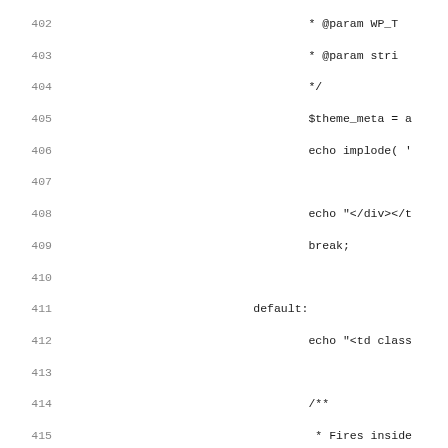Source code listing, lines 402–434, PHP code with line numbers